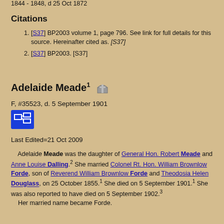1844 - 1848, d 25 Oct 1872
Citations
[S37] BP2003 volume 1, page 796. See link for full details for this source. Hereinafter cited as. [S37]
[S37] BP2003. [S37]
Adelaide Meade1
F, #35523, d. 5 September 1901
Last Edited=21 Oct 2009
Adelaide Meade was the daughter of General Hon. Robert Meade and Anne Louise Dalling.2 She married Colonel Rt. Hon. William Brownlow Forde, son of Reverend William Brownlow Forde and Theodosia Helen Douglass, on 25 October 1855.1 She died on 5 September 1901.1 She was also reported to have died on 5 September 1902.3
Her married name became Forde.